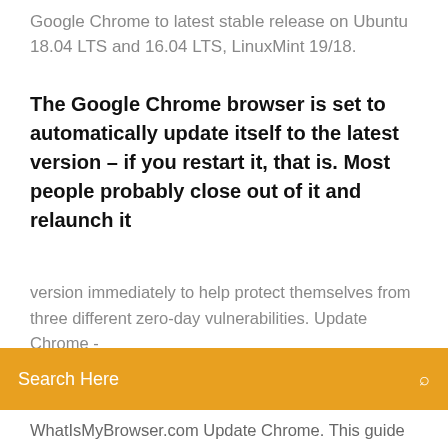Google Chrome to latest stable release on Ubuntu 18.04 LTS and 16.04 LTS, LinuxMint 19/18.
The Google Chrome browser is set to automatically update itself to the latest version – if you restart it, that is. Most people probably close out of it and relaunch it every few days.
[Figure (screenshot): Orange search bar overlay with 'Search Here' text and a search icon on the right]
version immediately to help protect themselves from three different zero-day vulnerabilities. Update Chrome - WhatIsMyBrowser.com Update Chrome. This guide will step you through the process of updating your Google Chrome web browser. Do you need to know what version of Chrome do I have?. Unless you have specifically disabled it Chrome will check for updates every couple of hours and automatically update itself, but here's how to manually tell Chrome to update itself. How do I update my Internet browser? - Computer … 06/03/2020 · To verify Chrome has the latest version or to